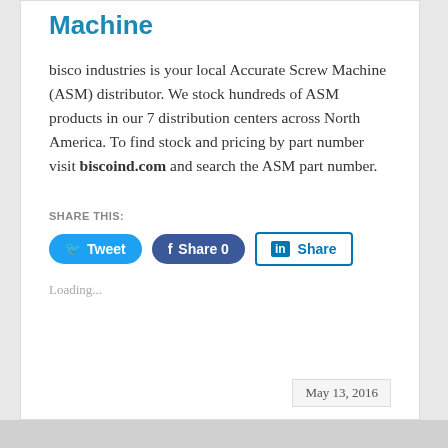Machine
bisco industries is your local Accurate Screw Machine (ASM) distributor. We stock hundreds of ASM products in our 7 distribution centers across North America. To find stock and pricing by part number visit biscoind.com and search the ASM part number.
SHARE THIS:
Tweet  Share 0  Share
Loading...
May 13, 2016